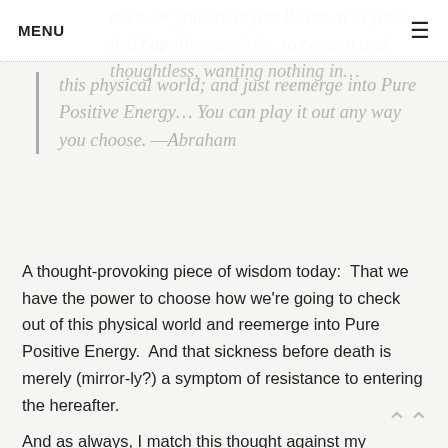MENU
over. Or you could just lie down in your bed happily one night, so content and thoughtless, wanting nothing in…
this physical world; and just reemerge into Pure Positive Energy… You can play it out any way you choose. —Abraham
A thought-provoking piece of wisdom today:  That we have the power to choose how we're going to check out of this physical world and reemerge into Pure Positive Energy.  And that sickness before death is merely (mirror-ly?) a symptom of resistance to entering the hereafter.
And as always, I match this thought against my experiences.